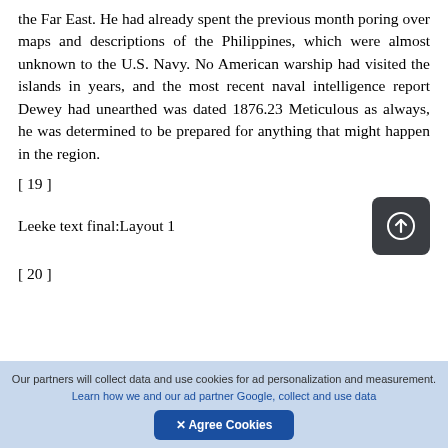the Far East. He had already spent the previous month poring over maps and descriptions of the Philippines, which were almost unknown to the U.S. Navy. No American warship had visited the islands in years, and the most recent naval intelligence report Dewey had unearthed was dated 1876.23 Meticulous as always, he was determined to be prepared for anything that might happen in the region.
[ 19 ]
Leeke text final:Layout 1
[ 20 ]
Our partners will collect data and use cookies for ad personalization and measurement. Learn how we and our ad partner Google, collect and use data